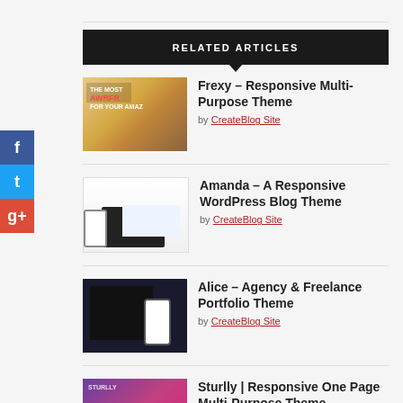RELATED ARTICLES
Frexy – Responsive Multi-Purpose Theme by CreateBlog Site
Amanda – A Responsive WordPress Blog Theme by CreateBlog Site
Alice – Agency & Freelance Portfolio Theme by CreateBlog Site
Sturlly | Responsive One Page Multi-Purpose Theme by CreateBlog Site